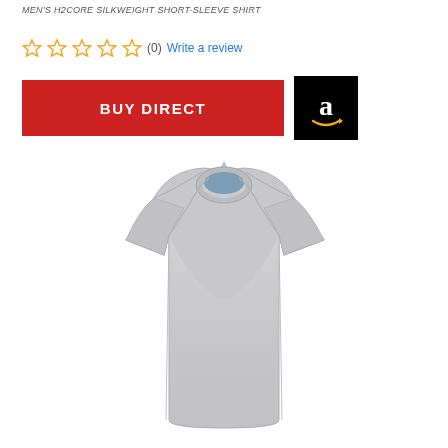MEN'S H2CORE SILKWEIGHT SHORT-SLEEVE SHIRT
☆☆☆☆☆ (0) Write a review
[Figure (other): Red BUY DIRECT button and Amazon logo button side by side]
[Figure (photo): Gray men's H2Core Silkweight short-sleeve shirt displayed headlessly on white background]